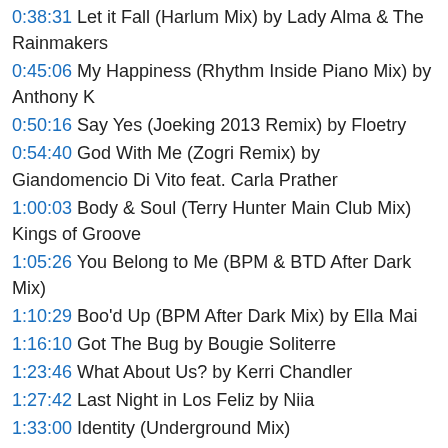0:38:31 Let it Fall (Harlum Mix) by Lady Alma & The Rainmakers
0:45:06 My Happiness (Rhythm Inside Piano Mix) by Anthony K
0:50:16 Say Yes (Joeking 2013 Remix) by Floetry
0:54:40 God With Me (Zogri Remix) by Giandomencio Di Vito feat. Carla Prather
1:00:03 Body & Soul (Terry Hunter Main Club Mix) Kings of Groove
1:05:26 You Belong to Me (BPM & BTD After Dark Mix)
1:10:29 Boo'd Up (BPM After Dark Mix) by Ella Mai
1:16:10 Got The Bug by Bougie Soliterre
1:23:46 What About Us? by Kerri Chandler
1:27:42 Last Night in Los Feliz by Niia
1:33:00 Identity (Underground Mix)
1:38:52 He Is The Joy (Soulbridge Classic Mix) by Donna Allan
1:45:40 Praying For You (Album Version) by Jasper Street Co.